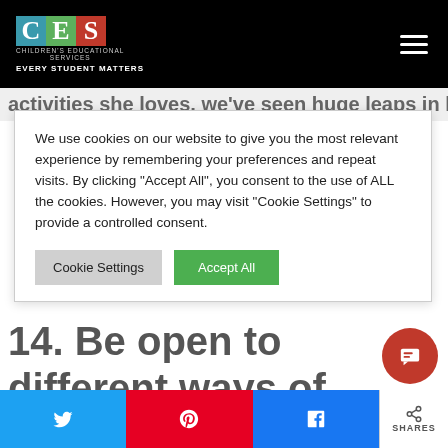[Figure (logo): Children's Educational Services logo with CES letters in colored squares, subtitle 'CHILDREN'S EDUCATIONAL SERVICES' and tagline 'EVERY STUDENT MATTERS']
activities she loves, we've seen huge leaps in her
We use cookies on our website to give you the most relevant experience by remembering your preferences and repeat visits. By clicking "Accept All", you consent to the use of ALL the cookies. However, you may visit "Cookie Settings" to provide a controlled consent.
14. Be open to different ways of doing things – including
[Figure (other): Social share buttons: Twitter (blue), Pinterest (red), Facebook (blue), and share count]